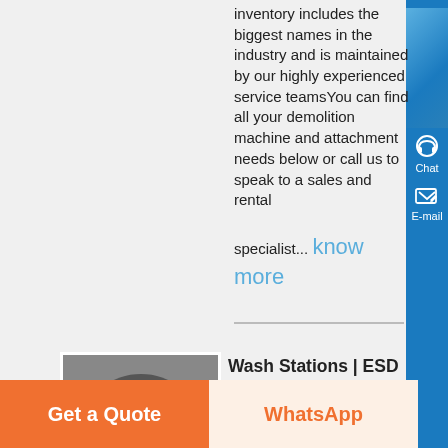inventory includes the biggest names in the industry and is maintained by our highly experienced service teamsYou can find all your demolition machine and attachment needs below or call us to speak to a sales and rental specialist... know more
[Figure (photo): Thumbnail photo of wash station equipment, dark industrial image]
Wash Stations | ESD Waste2Water - Wash Water Recycling ,
Concrete Wash Pad for a Rental Yard , ESD's equipment wash rack solutions offer wash water recycling equipment for a number of industrial and commercial operations including equipment rentals, heavy equipment dealers, municipal fleet operations, solid waste haulers and more...
Get a Quote
WhatsApp